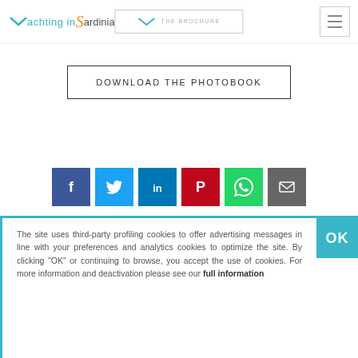Yachting in Sardinia — THE BROCHURE
DOWNLOAD THE PHOTOBOOK
[Figure (infographic): Row of six social media share buttons: Facebook (blue), Twitter (light blue), LinkedIn (dark blue), Pinterest (red), WhatsApp (green), Email (gray)]
The site uses third-party profiling cookies to offer advertising messages in line with your preferences and analytics cookies to optimize the site. By clicking "OK" or continuing to browse, you accept the use of cookies. For more information and deactivation please see our full information